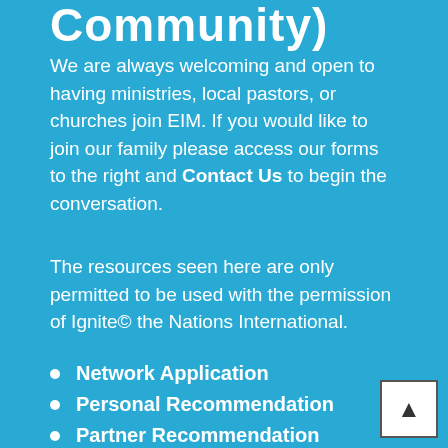Community)
We are always welcoming and open to having ministries, local pastors, or churches join EIM. If you would like to join our family please access our forms to the right and Contact Us to begin the conversation.
The resources seen here are only permitted to be used with the permission of Ignite© the Nations International.
Network Application
Personal Recommendation
Partner Recommendation